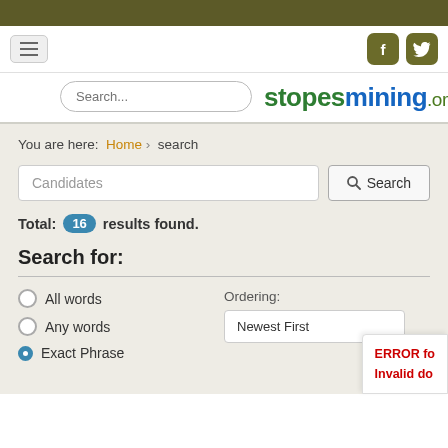stopesmining.org — navigation header with hamburger menu and social icons
[Figure (screenshot): Search input field with placeholder 'Search...']
stopesmining.org
You are here: Home > search
Candidates [Search button]
Total: 16 results found.
Search for:
All words
Any words
Exact Phrase (selected)
Ordering: Newest First
ERROR for Invalid do...